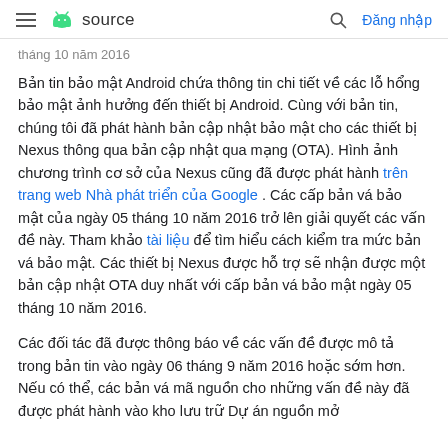≡  source   🔍  Đăng nhập
tháng 10 năm 2016
Bản tin bảo mật Android chứa thông tin chi tiết về các lỗ hổng bảo mật ảnh hưởng đến thiết bị Android. Cùng với bản tin, chúng tôi đã phát hành bản cập nhật bảo mật cho các thiết bị Nexus thông qua bản cập nhật qua mạng (OTA). Hình ảnh chương trình cơ sở của Nexus cũng đã được phát hành trên trang web Nhà phát triển của Google . Các cấp bản vá bảo mật của ngày 05 tháng 10 năm 2016 trở lên giải quyết các vấn đề này. Tham khảo tài liệu để tìm hiểu cách kiểm tra mức bản vá bảo mật. Các thiết bị Nexus được hỗ trợ sẽ nhận được một bản cập nhật OTA duy nhất với cấp bản vá bảo mật ngày 05 tháng 10 năm 2016.
Các đối tác đã được thông báo về các vấn đề được mô tả trong bản tin vào ngày 06 tháng 9 năm 2016 hoặc sớm hơn. Nếu có thể, các bản vá mã nguồn cho những vấn đề này đã được phát hành vào kho lưu trữ Dự án nguồn mở